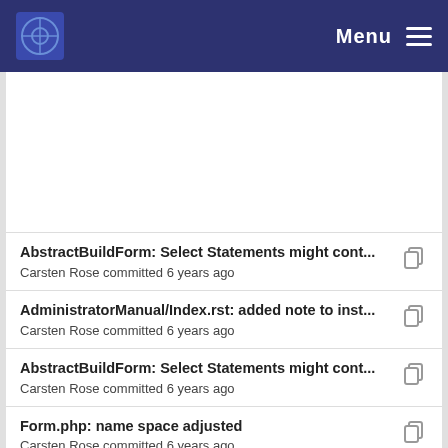Menu
AbstractBuildForm: Select Statements might cont... Carsten Rose committed 6 years ago
AdministratorManual/Index.rst: added note to inst... Carsten Rose committed 6 years ago
AbstractBuildForm: Select Statements might cont... Carsten Rose committed 6 years ago
Form.php: name space adjusted Carsten Rose committed 6 years ago